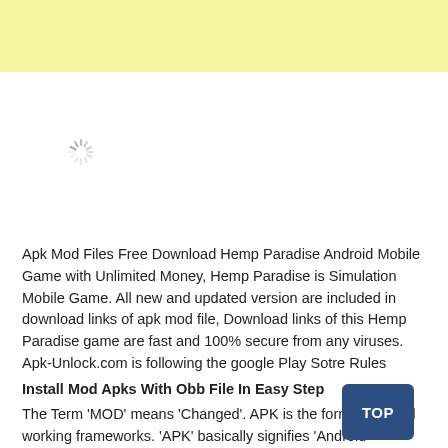[Figure (other): Yellow advertisement banner at top of page]
[Figure (other): Loading spinner icon in white content area]
Apk Mod Files Free Download Hemp Paradise Android Mobile Game with Unlimited Money, Hemp Paradise is Simulation Mobile Game. All new and updated version are included in download links of apk mod file, Download links of this Hemp Paradise game are fast and 100% secure from any viruses. Apk-Unlock.com is following the google Play Sotre Rules
Install Mod Apks With Obb File In Easy Step
The Term 'MOD' means 'Changed'. APK is the format Android working frameworks. 'APK' basically signifies 'Android Package' in short.